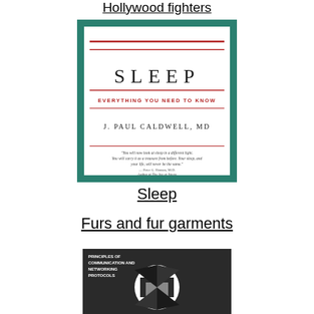Hollywood fighters
[Figure (illustration): Book cover of 'SLEEP: Everything You Need to Know' by J. Paul Caldwell, MD. Teal/green border, white center, title in large spaced serif letters, subtitle in red small caps, author name in small caps, and a quote at the bottom.]
Sleep
Furs and fur garments
[Figure (illustration): Book cover of 'Principles of Communication and Networking Protocols' with a dark geometric design featuring circular and angular shapes.]